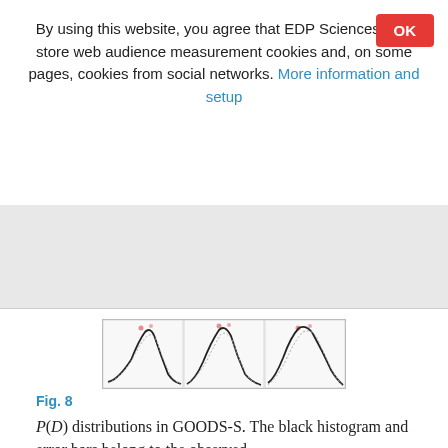By using this website, you agree that EDP Sciences may store web audience measurement cookies and, on some pages, cookies from social networks. More information and setup
[Figure (continuous-plot): Three side-by-side panels showing P(D) distribution curves in GOODS-S, each with a black curve (observed histogram) and lighter curves (model fits), with small red/pink dots above the peaks.]
Fig. 8
P(D) distributions in GOODS-S. The black histogram and error bars belong to the observed